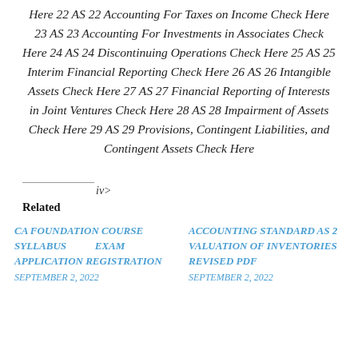Here 22 AS 22 Accounting For Taxes on Income Check Here 23 AS 23 Accounting For Investments in Associates Check Here 24 AS 24 Discontinuing Operations Check Here 25 AS 25 Interim Financial Reporting Check Here 26 AS 26 Intangible Assets Check Here 27 AS 27 Financial Reporting of Interests in Joint Ventures Check Here 28 AS 28 Impairment of Assets Check Here 29 AS 29 Provisions, Contingent Liabilities, and Contingent Assets Check Here
iv>
Related
CA FOUNDATION COURSE SYLLABUS EXAM APPLICATION REGISTRATION SEPTEMBER 2, 2022
ACCOUNTING STANDARD AS 2 VALUATION OF INVENTORIES REVISED PDF SEPTEMBER 2, 2022